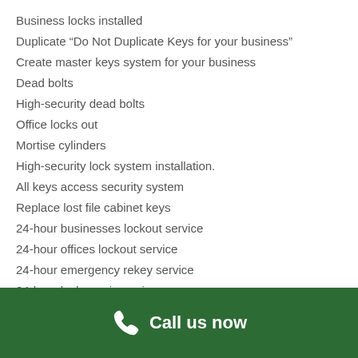Business locks installed
Duplicate “Do Not Duplicate Keys for your business”
Create master keys system for your business
Dead bolts
High-security dead bolts
Office locks out
Mortise cylinders
High-security lock system installation.
All keys access security system
Replace lost file cabinet keys
24-hour businesses lockout service
24-hour offices lockout service
24-hour emergency rekey service
24-hour lock repair service
24-hour businesses lockout service
Call us now